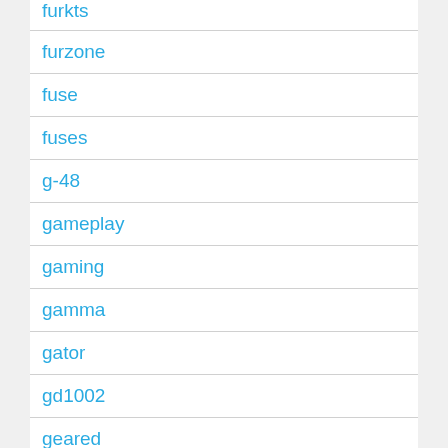furkts
furzone
fuse
fuses
g-48
gameplay
gaming
gamma
gator
gd1002
geared
geib
gen2
gerning